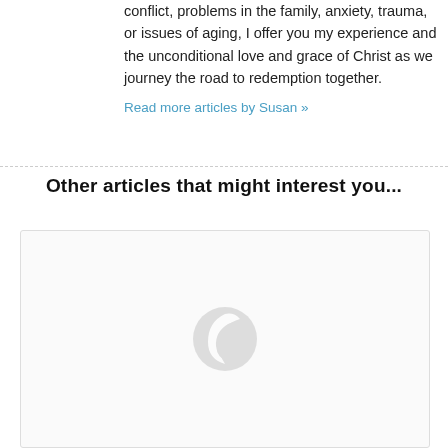conflict, problems in the family, anxiety, trauma, or issues of aging, I offer you my experience and the unconditional love and grace of Christ as we journey the road to redemption together.
Read more articles by Susan »
Other articles that might interest you...
[Figure (other): A card/box with a placeholder logo icon (gray crescent/leaf shape) centered inside, representing a linked article thumbnail]